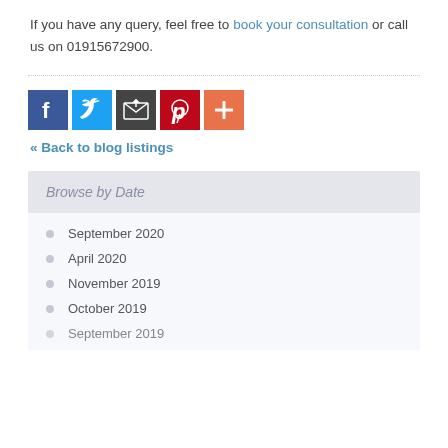If you have any query, feel free to book your consultation or call us on 01915672900.
[Figure (infographic): Social sharing icons: Facebook (blue), Twitter (blue), Share/Email (dark grey), Pinterest (red), More/Plus (orange-red)]
« Back to blog listings
Browse by Date
September 2020
April 2020
November 2019
October 2019
September 2019